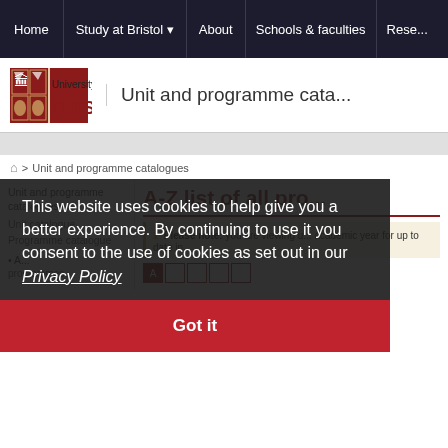Home | Study at Bristol | About | Schools & faculties | Rese...
[Figure (logo): University of Bristol logo with crest and text]
Unit and programme cata...
> Unit and programme catalogues
Unit and programme catalogues
A-Z list of all pro...
Unit catalogue
Programme catalogue
Please note: you are viewing u... academic year for up to date in...
A...
This website uses cookies to help give you a better experience. By continuing to use it you consent to the use of cookies as set out in our Privacy Policy
Got it